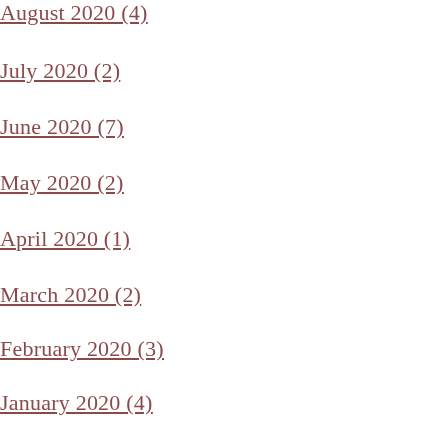August 2020 (4)
July 2020 (2)
June 2020 (7)
May 2020 (2)
April 2020 (1)
March 2020 (2)
February 2020 (3)
January 2020 (4)
December 2019 (2)